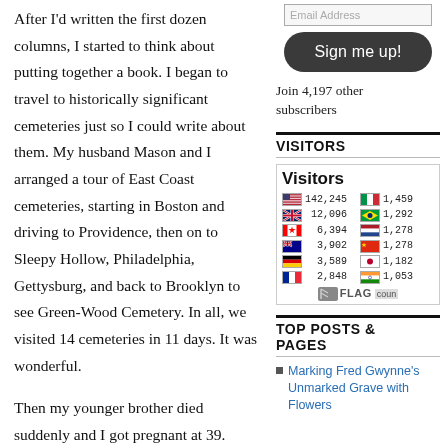After I'd written the first dozen columns, I started to think about putting together a book. I began to travel to historically significant cemeteries just so I could write about them. My husband Mason and I arranged a tour of East Coast cemeteries, starting in Boston and driving to Providence, then on to Sleepy Hollow, Philadelphia, Gettysburg, and back to Brooklyn to see Green-Wood Cemetery. In all, we visited 14 cemeteries in 11 days. It was wonderful.
Then my younger brother died suddenly and I got pregnant at 39. Complications ensued.
It took a while for me to complete the book. I joined the Red Room Writers Society in October 2004, which gave me a place to escape to (the Archbishop's Mansion) where I could
[Figure (other): Email address input field]
[Figure (other): Sign me up! button]
Join 4,197 other subscribers
VISITORS
[Figure (infographic): Flag Counter widget showing visitor counts by country. US: 142,245, UK: 12,096, Canada: 6,394, Australia: 3,902, Germany: 3,589, France: 2,848, Italy: 1,459, Brazil: 1,292, Netherlands: 1,278, China: 1,278, Japan: 1,182, India: 1,053]
TOP POSTS & PAGES
Marking Fred Gwynne's Unmarked Grave with Flowers